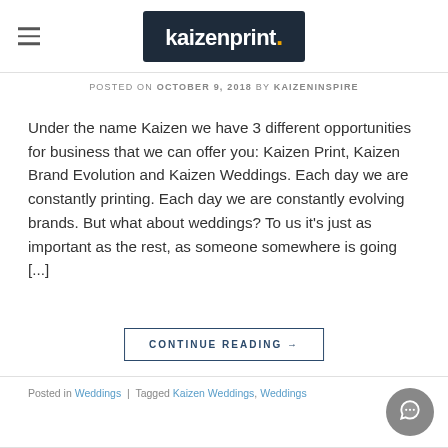kaizenprint.
POSTED ON OCTOBER 9, 2018 BY KAIZENINSPIRE
Under the name Kaizen we have 3 different opportunities for business that we can offer you: Kaizen Print, Kaizen Brand Evolution and Kaizen Weddings. Each day we are constantly printing. Each day we are constantly evolving brands. But what about weddings? To us it's just as important as the rest, as someone somewhere is going [...]
CONTINUE READING →
Posted in Weddings | Tagged Kaizen Weddings, Weddings